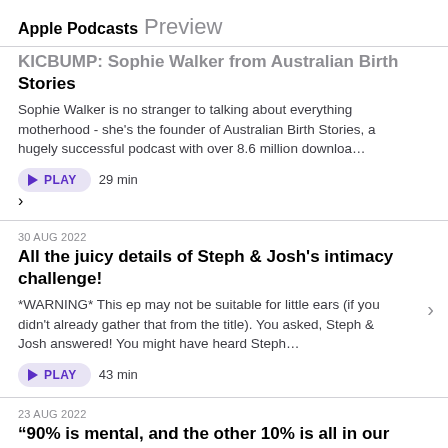Apple Podcasts Preview
KICBUMP: Sophie Walker from Australian Birth Stories
Stories
Sophie Walker is no stranger to talking about everything motherhood - she's the founder of Australian Birth Stories, a hugely successful podcast with over 8.6 million downloa…
PLAY  29 min
30 AUG 2022
All the juicy details of Steph & Josh's intimacy challenge!
*WARNING* This ep may not be suitable for little ears (if you didn't already gather that from the title). You asked, Steph & Josh answered! You might have heard Steph…
PLAY  43 min
23 AUG 2022
“90% is mental, and the other 10% is all in our heads”. Goal setting with Samantha Gash
We thought Laura loved running… until we heard what Samantha Gash has taken part in! The endurance athlete and Survivor star was the first woman in the world and…